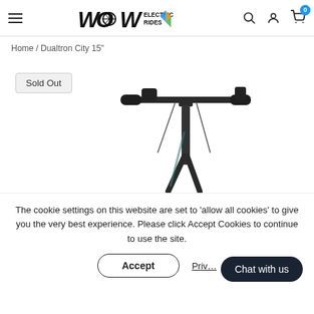WOW ELECTRIC RIDES
Home / Dualtron City 15"
Sold Out
[Figure (photo): Electric scooter (Dualtron City 15") shown from front/top view, dark color, showing handlebars, stem and partial frame against white background]
The cookie settings on this website are set to 'allow all cookies' to give you the very best experience. Please click Accept Cookies to continue to use the site.
Accept
Privacy
Chat with us